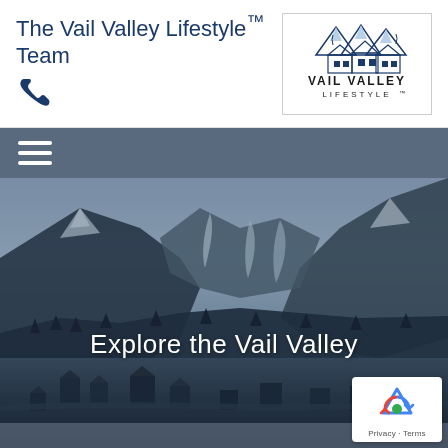The Vail Valley Lifestyle™ Team
[Figure (logo): Vail Valley Lifestyle™ logo with mountain chalet illustration and VAIL VALLEY LIFESTYLE™ text]
[Figure (photo): Aerial winter mountain ski resort photo of Vail Valley with snow-covered slopes, trees, and village]
Explore the Vail Valley
[Figure (other): Google reCAPTCHA widget with Privacy and Terms links]